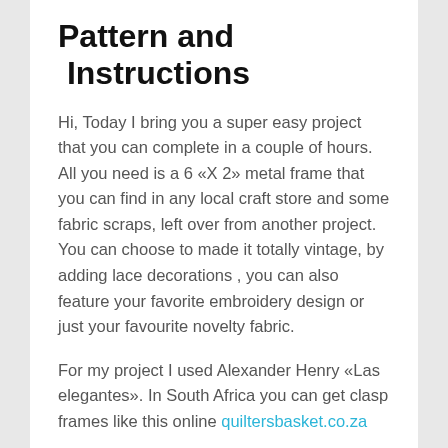Pattern and  Instructions
Hi, Today I bring you a super easy project that you can complete in a couple of hours. All you need is a 6 «X 2» metal frame that you can find in any local craft store and some fabric scraps, left over from another project. You can choose to made it totally vintage, by adding lace decorations , you can also feature your favorite embroidery design or just your favourite novelty fabric.
For my project I used Alexander Henry «Las elegantes». In South Africa you can get clasp frames like this online quiltersbasket.co.za
Just a warning, making clasp purses can become